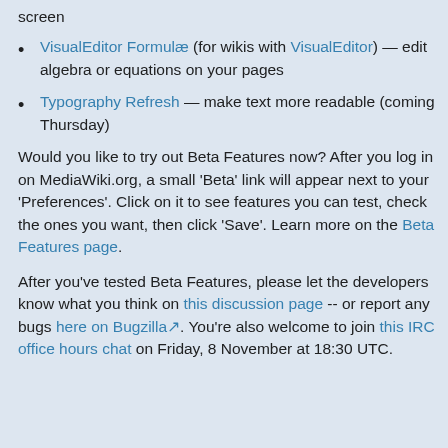screen
VisualEditor Formulæ (for wikis with VisualEditor) — edit algebra or equations on your pages
Typography Refresh — make text more readable (coming Thursday)
Would you like to try out Beta Features now? After you log in on MediaWiki.org, a small 'Beta' link will appear next to your 'Preferences'. Click on it to see features you can test, check the ones you want, then click 'Save'. Learn more on the Beta Features page.
After you've tested Beta Features, please let the developers know what you think on this discussion page -- or report any bugs here on Bugzilla. You're also welcome to join this IRC office hours chat on Friday, 8 November at 18:30 UTC.